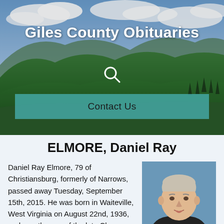[Figure (photo): Scenic mountain landscape with green forested hills and partly cloudy sky — hero banner background for Giles County Obituaries website]
Giles County Obituaries
Contact Us
ELMORE, Daniel Ray
[Figure (photo): Portrait photo of Daniel Ray Elmore, an older white man with gray/white hair, wearing a dark shirt, smiling slightly, blue background]
Daniel Ray Elmore, 79 of Christiansburg, formerly of Narrows, passed away Tuesday, September 15th, 2015. He was born in Waiteville, West Virginia on August 22nd, 1936, and was the son of the late Clarence Carmel and Lillie Elmore Shrader. Although handicapped as a child with Cerebral Palsy, he worked many years at S...